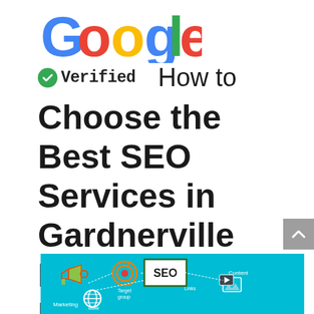[Figure (logo): Google logo in multicolor letters]
✓Verified   How to Choose the Best SEO Services in Gardnerville Ranchos Nevada...
[Figure (infographic): SEO infographic on teal background showing Marketing, Target group, Links, Content, www, SEO center box]